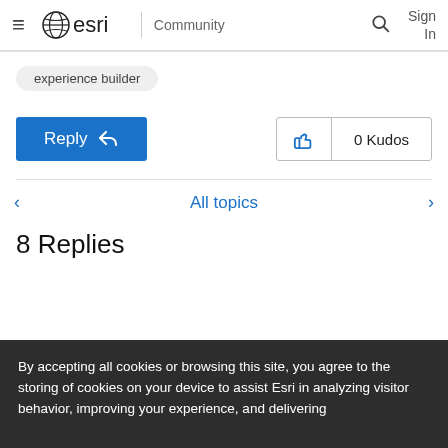esri Community — Sign In
experience builder
Reply   0 Kudos
All topics
8 Replies
By accepting all cookies or browsing this site, you agree to the storing of cookies on your device to assist Esri in analyzing visitor behavior, improving your experience, and delivering